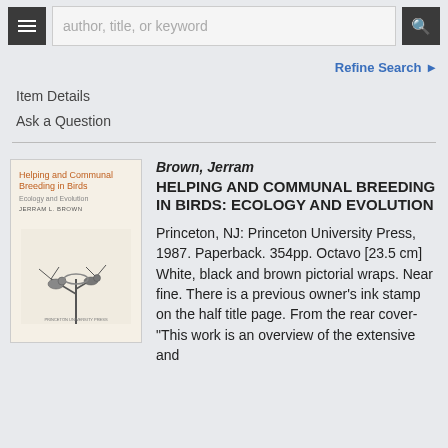author, title, or keyword
Refine Search
Item Details
Ask a Question
[Figure (photo): Book cover of 'Helping and Communal Breeding in Birds: Ecology and Evolution' by Jerram L. Brown. Cream/beige background with orange title text and a black and white illustration of birds.]
Brown, Jerram
HELPING AND COMMUNAL BREEDING IN BIRDS: ECOLOGY AND EVOLUTION
Princeton, NJ: Princeton University Press, 1987. Paperback. 354pp. Octavo [23.5 cm] White, black and brown pictorial wraps. Near fine. There is a previous owner's ink stamp on the half title page. From the rear cover- "This work is an overview of the extensive and